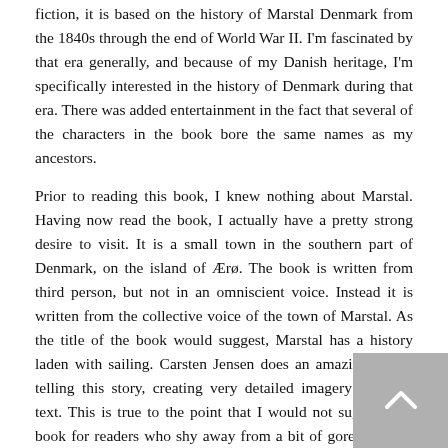fiction, it is based on the history of Marstal Denmark from the 1840s through the end of World War II. I'm fascinated by that era generally, and because of my Danish heritage, I'm specifically interested in the history of Denmark during that era. There was added entertainment in the fact that several of the characters in the book bore the same names as my ancestors.
Prior to reading this book, I knew nothing about Marstal. Having now read the book, I actually have a pretty strong desire to visit. It is a small town in the southern part of Denmark, on the island of Ærø. The book is written from third person, but not in an omniscient voice. Instead it is written from the collective voice of the town of Marstal. As the title of the book would suggest, Marstal has a history laden with sailing. Carsten Jensen does an amazing job of telling this story, creating very detailed imagery with the text. This is true to the point that I would not suggest this book for readers who shy away from a bit of gore. It spans over two world wars, and graphically depicts the ugliness that occurs at sea during wartime.
The book was a bit slow to draw me in. But once it did, I did not want it to end. Luckily it is 675 pages, so it lasted me a little while.